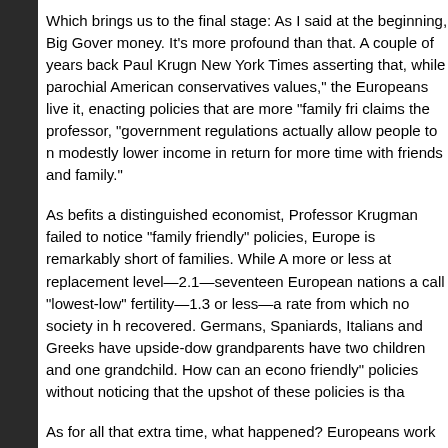Which brings us to the final stage: As I said at the beginning, Big Gover money. It's more profound than that. A couple of years back Paul Krugn New York Times asserting that, while parochial American conservatives values," the Europeans live it, enacting policies that are more "family fri claims the professor, "government regulations actually allow people to n modestly lower income in return for more time with friends and family."
As befits a distinguished economist, Professor Krugman failed to notice "family friendly" policies, Europe is remarkably short of families. While A more or less at replacement level—2.1—seventeen European nations a call "lowest-low" fertility—1.3 or less—a rate from which no society in h recovered. Germans, Spaniards, Italians and Greeks have upside-dow grandparents have two children and one grandchild. How can an econo friendly" policies without noticing that the upshot of these policies is tha
As for all that extra time, what happened? Europeans work fewer hours have to pay for their own health care, they're post-Christian so they don marry and they don't have kids to take to school and basketball and the fair. So what do they do with all the time?
Forget for the moment Europe's lack of world-beating companies: They Anglo-American fetish, and they mostly despise it. But what about the t supposedly value? With so much free time, where is the great Europea men of science? At American universities. Meanwhile, Continental gove